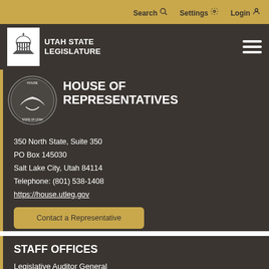Search  Settings  Login
[Figure (logo): Utah State Legislature logo with capitol building icon and text UTAH STATE LEGISLATURE]
HOUSE OF REPRESENTATIVES
350 North State, Suite 350
PO Box 145030
Salt Lake City, Utah 84114
Telephone: (801) 538-1408
https://house.utleg.gov
Contact a Representative
STAFF OFFICES
Legislative Auditor General